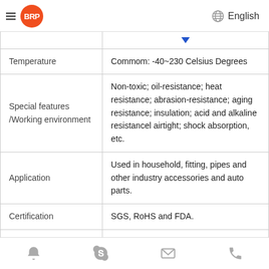BRP | English
| Property | Value |
| --- | --- |
| Temperature | Commom: -40~230 Celsius Degrees |
| Special features /Working environment | Non-toxic; oil-resistance; heat resistance; abrasion-resistance; aging resistance; insulation; acid and alkaline resistancel airtight; shock absorption, etc. |
| Application | Used in household, fitting, pipes and other industry accessories and auto parts. |
| Certification | SGS, RoHS and FDA. |
Navigation icons: bell, Skype, email, phone